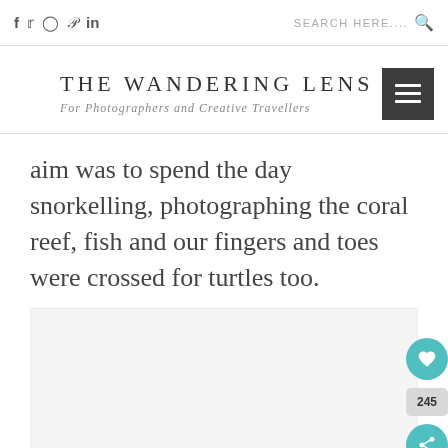f 🐦 [instagram] [pinterest] in | SEARCH HERE....
THE WANDERING LENS
For Photographers and Creative Travellers
aim was to spend the day snorkelling, photographing the coral reef, fish and our fingers and toes were crossed for turtles too.
[Figure (photo): Photograph placeholder area, image of coral reef or snorkelling scene]